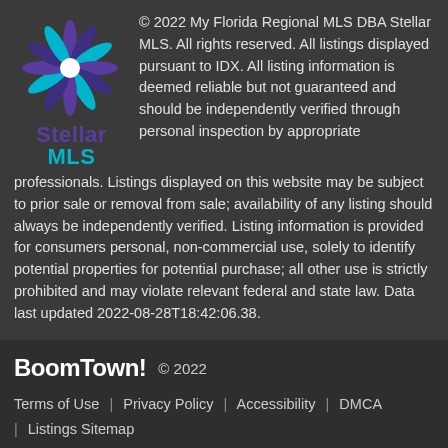[Figure (logo): Stellar MLS logo — snowflake/star shape in purple, blue, teal, with text 'Stellar MLS' below]
© 2022 My Florida Regional MLS DBA Stellar MLS. All rights reserved. All listings displayed pursuant to IDX. All listing information is deemed reliable but not guaranteed and should be independently verified through personal inspection by appropriate professionals. Listings displayed on this website may be subject to prior sale or removal from sale; availability of any listing should always be independently verified. Listing information is provided for consumers personal, non-commercial use, solely to identify potential properties for potential purchase; all other use is strictly prohibited and may violate relevant federal and state law. Data last updated 2022-08-28T18:42:06.38.
[Figure (logo): BoomTown! logo in bold white text]
© 2022
Terms of Use | Privacy Policy | Accessibility | DMCA | Listings Sitemap
Take a Tour
Ask A Question